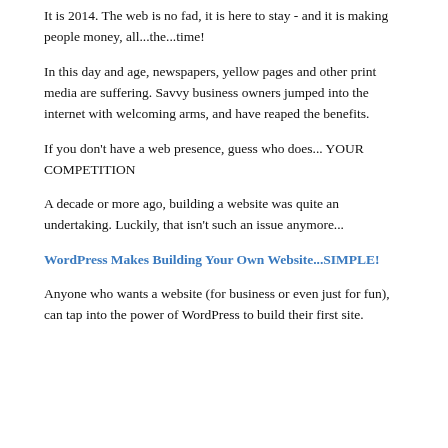It is 2014. The web is no fad, it is here to stay - and it is making people money, all...the...time!
In this day and age, newspapers, yellow pages and other print media are suffering. Savvy business owners jumped into the internet with welcoming arms, and have reaped the benefits.
If you don't have a web presence, guess who does... YOUR COMPETITION
A decade or more ago, building a website was quite an undertaking. Luckily, that isn't such an issue anymore...
WordPress Makes Building Your Own Website...SIMPLE!
Anyone who wants a website (for business or even just for fun), can tap into the power of WordPress to build their first site.